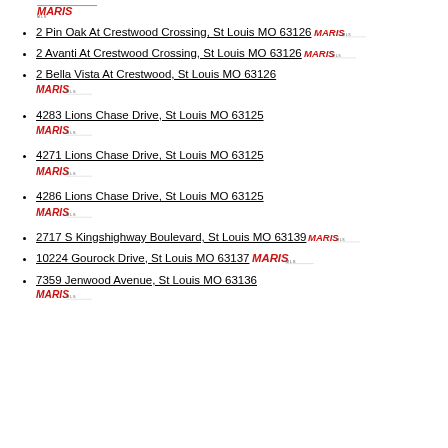2 Pin Oak At Crestwood Crossing, St Louis MO 63126
2 Avanti At Crestwood Crossing, St Louis MO 63126
2 Bella Vista At Crestwood, St Louis MO 63126
4283 Lions Chase Drive, St Louis MO 63125
4271 Lions Chase Drive, St Louis MO 63125
4286 Lions Chase Drive, St Louis MO 63125
2717 S Kingshighway Boulevard, St Louis MO 63139
10224 Gourock Drive, St Louis MO 63137
7359 Jenwood Avenue, St Louis MO 63136